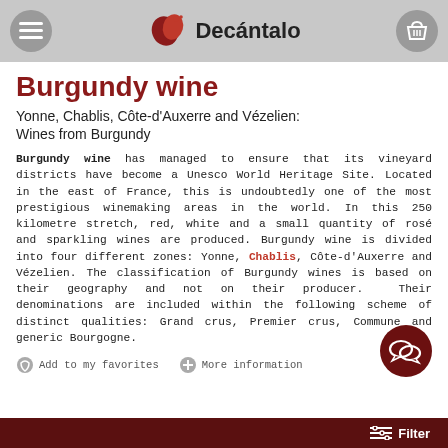Decántalo
Burgundy wine
Yonne, Chablis, Côte-d'Auxerre and Vézelien: Wines from Burgundy
Burgundy wine has managed to ensure that its vineyard districts have become a Unesco World Heritage Site. Located in the east of France, this is undoubtedly one of the most prestigious winemaking areas in the world. In this 250 kilometre stretch, red, white and a small quantity of rosé and sparkling wines are produced. Burgundy wine is divided into four different zones: Yonne, Chablis, Côte-d'Auxerre and Vézelien. The classification of Burgundy wines is based on their geography and not on their producer. Their denominations are included within the following scheme of distinct qualities: Grand crus, Premier crus, Commune and generic Bourgogne.
Filter